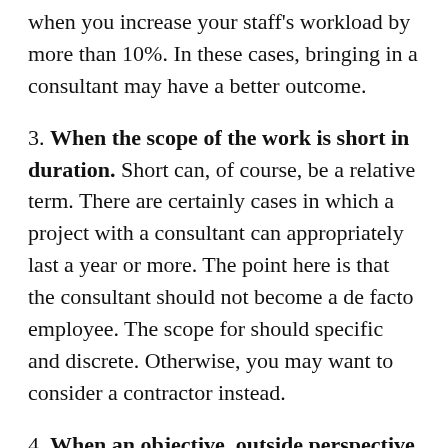when you increase your staff's workload by more than 10%. In these cases, bringing in a consultant may have a better outcome.
3. When the scope of the work is short in duration. Short can, of course, be a relative term. There are certainly cases in which a project with a consultant can appropriately last a year or more. The point here is that the consultant should not become a de facto employee. The scope for should specific and discrete. Otherwise, you may want to consider a contractor instead.
4. When an objective, outside perspective is needed. Sometimes, your team can become too close to the problem being addressed or may disagree on the solution to the problem.